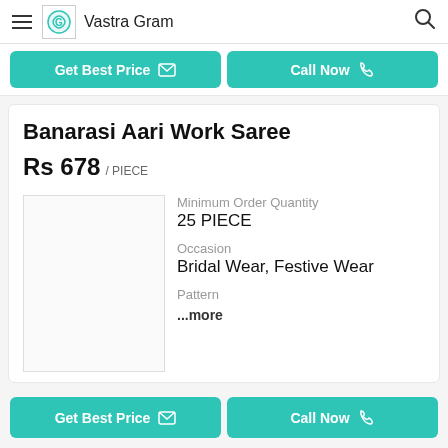Vastra Gram
Get Best Price | Call Now
Banarasi Aari Work Saree
Rs 678 / PIECE
Minimum Order Quantity
25 PIECE
Occasion
Bridal Wear, Festive Wear
Pattern
...more
Get Best Price | Call Now